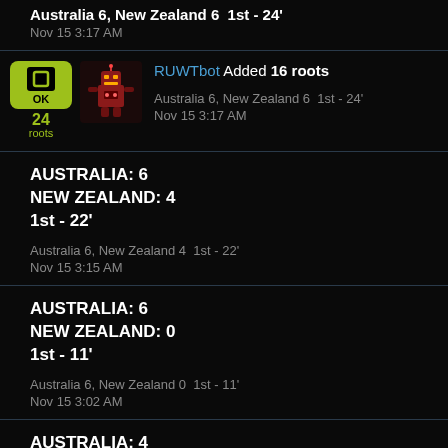Australia 6, New Zealand 6  1st - 24'
Nov 15 3:17 AM
RUWTbot Added 16 roots
Australia 6, New Zealand 6  1st - 24'
Nov 15 3:17 AM
AUSTRALIA: 6
NEW ZEALAND: 4
1st - 22'
Australia 6, New Zealand 4  1st - 22'
Nov 15 3:15 AM
AUSTRALIA: 6
NEW ZEALAND: 0
1st - 11'
Australia 6, New Zealand 0  1st - 11'
Nov 15 3:02 AM
AUSTRALIA: 4
NEW ZEALAND: 0
1st - 10'
Australia 4, New Zealand 0  1st - 10'